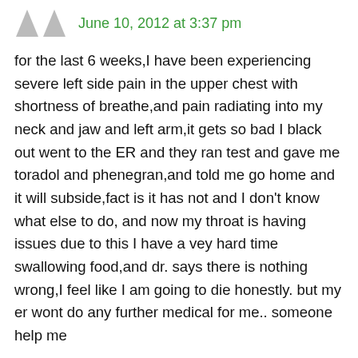June 10, 2012 at 3:37 pm
for the last 6 weeks,I have been experiencing severe left side pain in the upper chest with shortness of breathe,and pain radiating into my neck and jaw and left arm,it gets so bad I black out went to the ER and they ran test and gave me toradol and phenegran,and told me go home and it will subside,fact is it has not and I don't know what else to do, and now my throat is having issues due to this I have a vey hard time swallowing food,and dr. says there is nothing wrong,I feel like I am going to die honestly. but my er wont do any further medical for me.. someone help me
REPLY